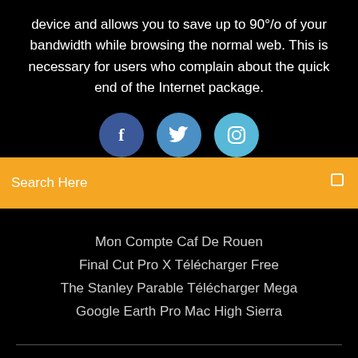device and allows you to save up to 90°/o of your bandwidth while browsing the normal web. This is necessary for users who complain about the quick end of the Internet package.
[Figure (illustration): Three social media icon buttons: Facebook (dark blue), Twitter (medium blue), Instagram (light blue), partially visible at bottom of black section]
Search Here
Mon Compte Caf De Rouen
Final Cut Pro X Télécharger Free
The Stanley Parable Télécharger Mega
Google Earth Pro Mac High Sierra
Copyright ©2022 All rights reserved